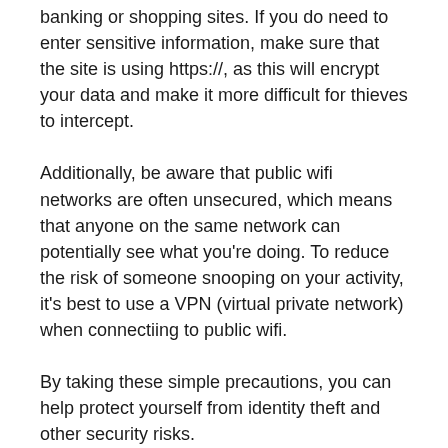banking or shopping sites. If you do need to enter sensitive information, make sure that the site is using https://, as this will encrypt your data and make it more difficult for thieves to intercept.
Additionally, be aware that public wifi networks are often unsecured, which means that anyone on the same network can potentially see what you're doing. To reduce the risk of someone snooping on your activity, it's best to use a VPN (virtual private network) when connectiing to public wifi.
By taking these simple precautions, you can help protect yourself from identity theft and other security risks.